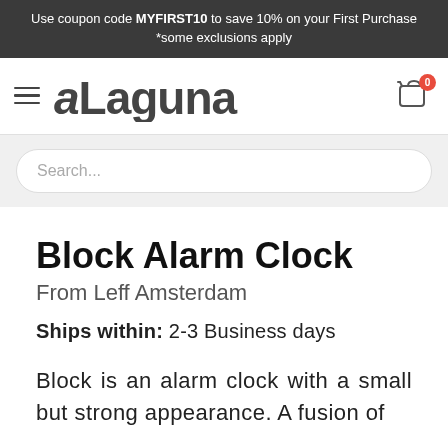Use coupon code MYFIRST10 to save 10% on your First Purchase *some exclusions apply
[Figure (logo): Laguna store logo with hamburger menu icon on the left and shopping cart with badge '0' on the right]
Search...
Block Alarm Clock
From Leff Amsterdam
Ships within: 2-3 Business days
Block is an alarm clock with a small but strong appearance. A fusion of